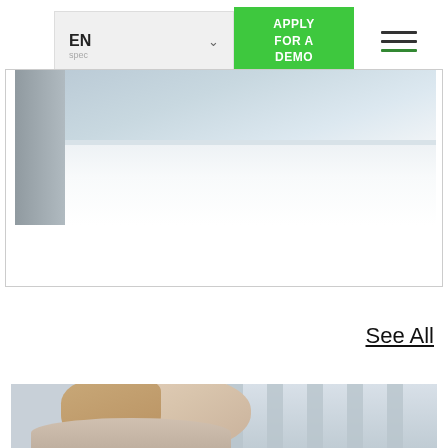[Figure (screenshot): Navigation bar with EN language selector dropdown, green APPLY FOR A DEMO button, and hamburger menu icon]
[Figure (photo): Partial photo of a white desk/furniture piece with blurred background, shown inside a card with border]
See All
[Figure (photo): Partial photo of a young woman with long hair, smiling, with blurred office/building background]